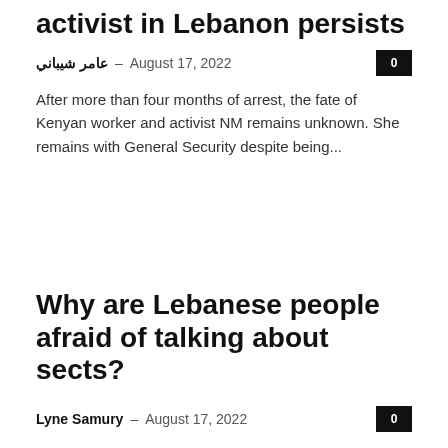activist in Lebanon persists
عامر شيباني – August 17, 2022
After more than four months of arrest, the fate of Kenyan worker and activist NM remains unknown. She remains with General Security despite being...
Why are Lebanese people afraid of talking about sects?
Lyne Samury – August 17, 2022